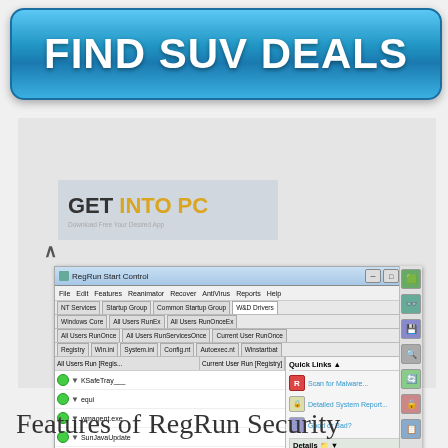[Figure (screenshot): Blue banner button with text FIND SUV DEALS]
[Figure (screenshot): RegRun Start Control application window showing startup management software with Quick Links panel, list of startup entries (KSafeTray, equi, wmagent.exe, SunJavaUpdate, RegRunWinBal, @RegRunOnSe), Commands panel with On/Pause/Off, Terminate, New, Add to Job, Edit, Recall Recently Deleted, Recall Deleted, Export Registry Keys to the REG File, Run options. GET INTO PC watermark visible.]
Features of RegRun Security